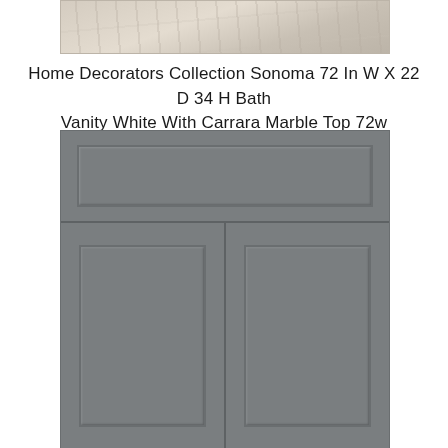[Figure (photo): Partial view of a light wood grain flooring texture, cropped at the top of the page]
Home Decorators Collection Sonoma 72 In W X 22 D 34 H Bath Vanity White With Carrara Marble Top 72w
[Figure (photo): Gray bath vanity cabinet showing a top drawer section with a recessed panel inset, and a lower section with two doors each having recessed panel insets, center-split by a vertical divider]